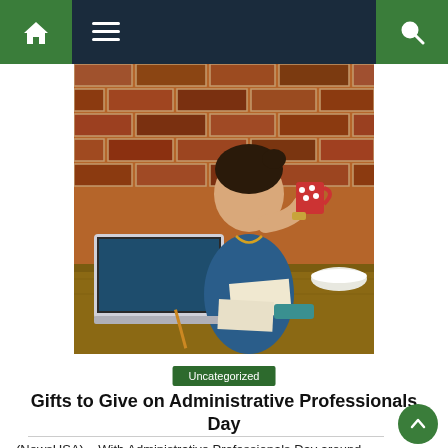Navigation bar with home, menu, and search icons
[Figure (photo): Woman sitting at a wooden desk with a laptop, drinking from a red polka-dot mug, in front of a rustic brick wall. Items on the desk include papers, pens, and a white bowl.]
Uncategorized
Gifts to Give on Administrative Professionals Day
(NewsUSA) – With Administrative Professionals Day around